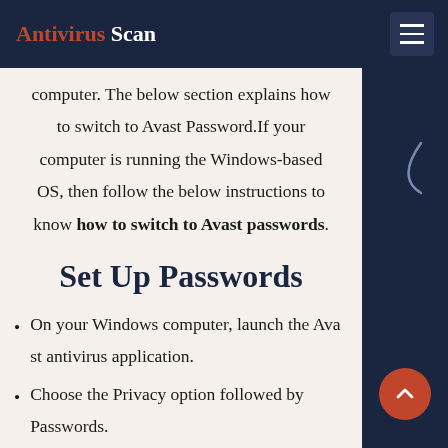Antivirus Scan
computer. The below section explains how to switch to Avast Password.If your computer is running the Windows-based OS, then follow the below instructions to know how to switch to Avast passwords.
Set Up Passwords
On your Windows computer, launch the Avast antivirus application.
Choose the Privacy option followed by Passwords.